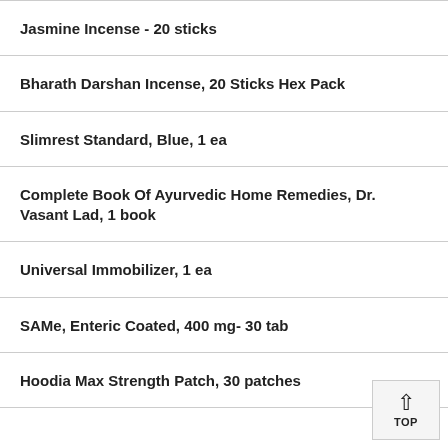Jasmine Incense - 20 sticks
Bharath Darshan Incense, 20 Sticks Hex Pack
Slimrest Standard, Blue, 1 ea
Complete Book Of Ayurvedic Home Remedies, Dr. Vasant Lad, 1 book
Universal Immobilizer, 1 ea
SAMe, Enteric Coated, 400 mg- 30 tab
Hoodia Max Strength Patch, 30 patches